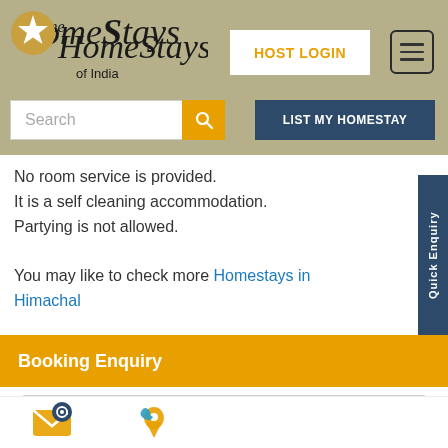[Figure (logo): HomeStays of India logo with star icon]
HOST LOGIN
[Figure (other): Hamburger menu icon]
[Figure (other): Search bar with magnifying glass icon]
LIST MY HOMESTAY
No room service is provided.
It is a self cleaning accommodation.
Partying is not allowed.

You may like to check more Homestays in Himachal
Quick Enquiry
Booking Enquiry
Name
Email id
[Figure (illustration): Email icon (envelope with @)]
[Figure (illustration): Phone/location icon]